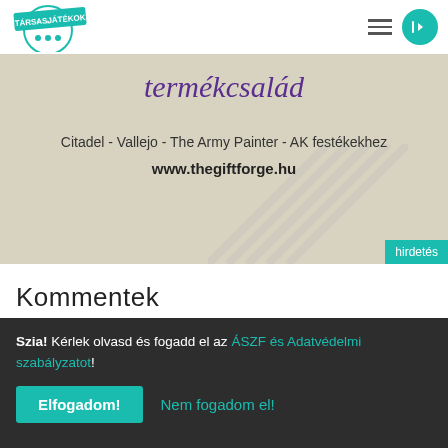[Figure (logo): Társasjátékok circular logo with teal banner and board game illustrations]
[Figure (screenshot): Advertisement banner with tan/beige background. Title: 'termékcsalád' in purple italic. Subtitle: 'Citadel - Vallejo - The Army Painter - AK festékekhez'. URL: www.thegiftforge.hu in bold. 'hirdetés' label in teal bottom right.]
Kommentek
[Figure (screenshot): Comment input area with navigation/send icons visible]
Szia! Kérlek olvasd és fogadd el az ÁSZF és Adatvédelmi szabályzatot!
Elfogadom!
Nem fogadom el!